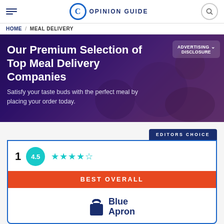OPINION GUIDE
HOME / MEAL DELIVERY
[Figure (photo): Hero banner with food imagery background showing meal delivery promotional content]
Our Premium Selection of Top Meal Delivery Companies
Satisfy your taste buds with the perfect meal by placing your order today.
ADVERTISING DISCLOSURE
EDITORS CHOICE
1  4.5  ★★★★½
BEST OVERALL
[Figure (logo): Blue Apron logo with apron icon and brand name]